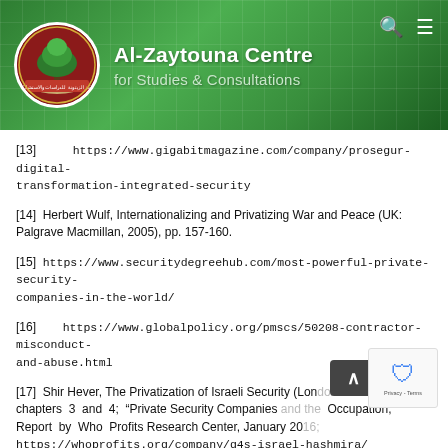Al-Zaytouna Centre for Studies & Consultations
[13]   https://www.gigabitmagazine.com/company/prosegur-digital-transformation-integrated-security
[14] Herbert Wulf, Internationalizing and Privatizing War and Peace (UK: Palgrave Macmillan, 2005), pp. 157-160.
[15]  https://www.securitydegreehub.com/most-powerful-private-security-companies-in-the-world/
[16]      https://www.globalpolicy.org/pmscs/50208-contractor-misconduct-and-abuse.html
[17] Shir Hever, The Privatization of Israeli Security (London: Pluto, 2018), chapters 3 and 4; "Private Security Companies and the Occupation," Report by Who Profits Research Center, January 2016; https://whoprofits.org/company/g4s-israel-hashmira/